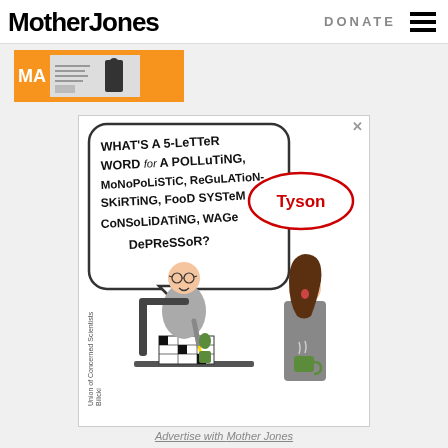Mother Jones | DONATE
[Figure (illustration): Mother Jones magazine advertisement banner with orange background, showing 'MA' text and a magazine cover image]
[Figure (illustration): Union of Concerned Scientists advertisement cartoon: A person doing a crossword puzzle asks 'What's a 5-letter word for a polluting, monopolistic, regulation-skirting, food system consolidating, wage depressor?' A woman standing nearby holds a coffee cup, with a Tyson Foods logo speech bubble responding. Credited to Bilicki.]
Advertise with Mother Jones